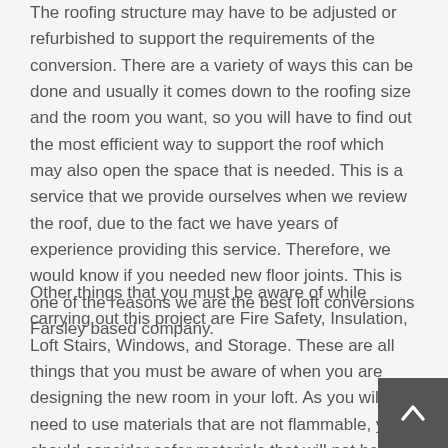The roofing structure may have to be adjusted or refurbished to support the requirements of the conversion. There are a variety of ways this can be done and usually it comes down to the roofing size and the room you want, so you will have to find out the most efficient way to support the roof which may also open the space that is needed. This is a service that we provide ourselves when we review the roof, due to the fact we have years of experience providing this service. Therefore, we would know if you needed new floor joints. This is one of the reasons we are the best loft conversions Farsley based company.
Other things that you must be aware of while carrying out this project are Fire Safety, Insulation, Loft Stairs, Windows, and Storage. These are all things that you must be aware of when you are designing the new room in your loft. As you will need to use materials that are not flammable, you should consider safer materials that will not be a fire hazard.